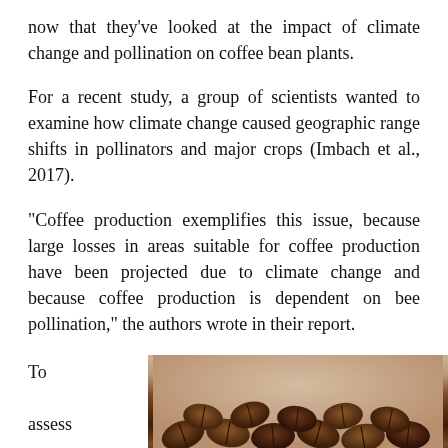now that they've looked at the impact of climate change and pollination on coffee bean plants.
For a recent study, a group of scientists wanted to examine how climate change caused geographic range shifts in pollinators and major crops (Imbach et al., 2017).
“Coffee production exemplifies this issue, because large losses in areas suitable for coffee production have been projected due to climate change and because coffee production is dependent on bee pollination,” the authors wrote in their report.
To assess
[Figure (photo): Photo of coffee beans, brown roasted beans piled together on a beige/tan background]